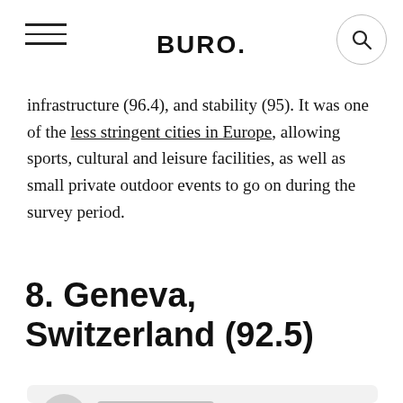BURO.
infrastructure (96.4), and stability (95). It was one of the less stringent cities in Europe, allowing sports, cultural and leisure facilities, as well as small private outdoor events to go on during the survey period.
8. Geneva, Switzerland (92.5)
[Figure (photo): Card area with avatar circle, gray bar placeholder, and black share bar showing Facebook, Twitter, and WhatsApp icons]